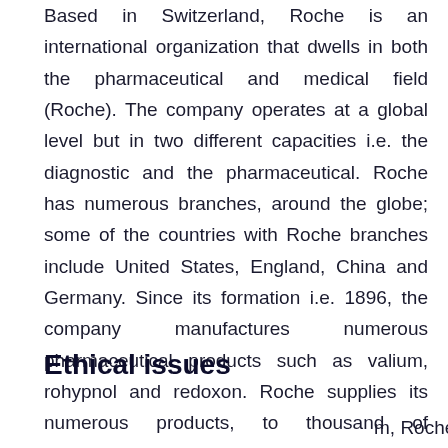Based in Switzerland, Roche is an international organization that dwells in both the pharmaceutical and medical field (Roche). The company operates at a global level but in two different capacities i.e. the diagnostic and the pharmaceutical. Roche has numerous branches, around the globe; some of the countries with Roche branches include United States, England, China and Germany. Since its formation i.e. 1896, the company manufactures numerous pharmaceutical products such as valium, rohypnol and redoxon. Roche supplies its numerous products, to thousand of healthcare institutions around the globe.
Ethical issues
m, Roche still